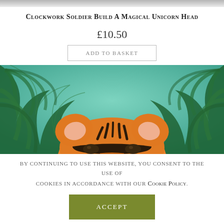[Figure (photo): Top cropped product image strip (partially visible, greyed out)]
Clockwork Soldier Build A Magical Unicorn Head
£10.50
Add to basket
[Figure (photo): Product photo: tiger ceramic/craft item peeking from bottom of frame, surrounded by tropical palm leaves on a teal/mint background]
By continuing to use this website, you consent to the use of cookies in accordance with our Cookie Policy.
Accept